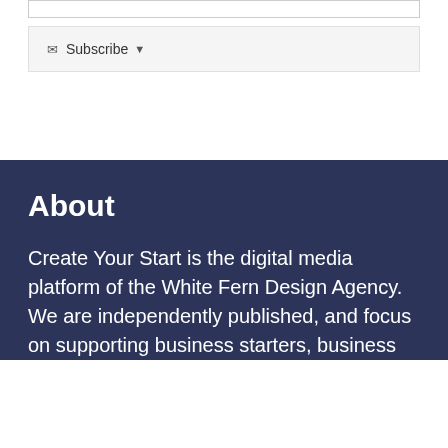[Figure (other): Partial bordered box at top of page, white background]
Subscribe ▼
About
Create Your Start is the digital media platform of the White Fern Design Agency. We are independently published, and focus on supporting business starters, business